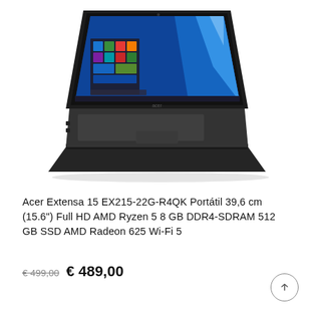[Figure (photo): Acer Extensa 15 laptop shown from a 3/4 angle, open with Windows 10 displayed on screen. The laptop body is black. The screen shows a blue Windows 10 desktop with the Start menu open on the left side and a geometric blue background design on the right.]
Acer Extensa 15 EX215-22G-R4QK Portátil 39,6 cm (15.6") Full HD AMD Ryzen 5 8 GB DDR4-SDRAM 512 GB SSD AMD Radeon 625 Wi-Fi 5
€ 499,00  € 489,00